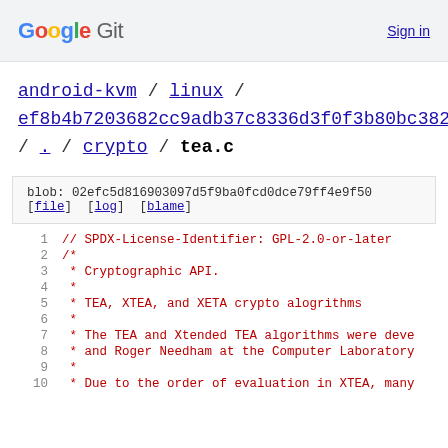Google Git   Sign in
android-kvm / linux / ef8b4b7203682cc9adb37c8336d3f0f3b80bc382 / . / crypto / tea.c
blob: 02efc5d816903097d5f9ba0fcd0dce79ff4e9f50
[file] [log] [blame]
1  // SPDX-License-Identifier: GPL-2.0-or-later
2  /*
3   * Cryptographic API.
4   *
5   * TEA, XTEA, and XETA crypto alogrithms
6   *
7   * The TEA and Xtended TEA algorithms were deve
8   * and Roger Needham at the Computer Laboratory
9   *
10  * Due to the order of evaluation in XTEA, many